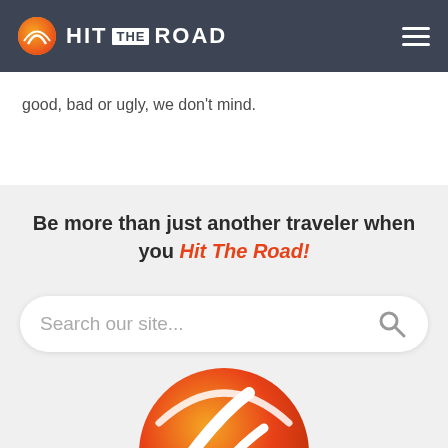[Figure (logo): Hit The Road navigation bar logo with orange circular icon and white text reading HIT THE ROAD with hamburger menu icon on right]
good, bad or ugly, we don't mind.
Be more than just another traveler when you Hit The Road!
[Figure (screenshot): Search bar with placeholder text 'Search our site...' and magnifying glass icon]
[Figure (logo): Large Hit The Road orange circular logo icon at bottom of page]